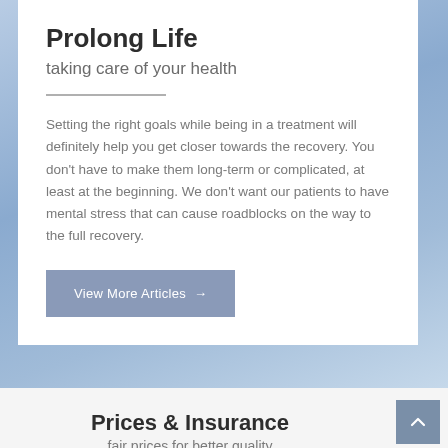Prolong Life
taking care of your health
Setting the right goals while being in a treatment will definitely help you get closer towards the recovery. You don't have to make them long-term or complicated, at least at the beginning. We don't want our patients to have mental stress that can cause roadblocks on the way to the full recovery.
View More Articles →
[Figure (photo): Blue abstract background with soft wave patterns suggesting medical/health theme]
Prices & Insurance
fair prices for better quality